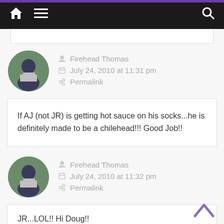[Figure (screenshot): Navigation bar with home icon, hamburger menu, and search icon on dark background with purple top border]
Firehead Thomas
July 24, 2010 at 11:31 pm
Permalink
If AJ (not JR) is getting hot sauce on his socks...he is definitely made to be a chilehead!!! Good Job!!
Firehead Thomas
July 24, 2010 at 11:32 pm
Permalink
JR...LOL!! Hi Doug!!